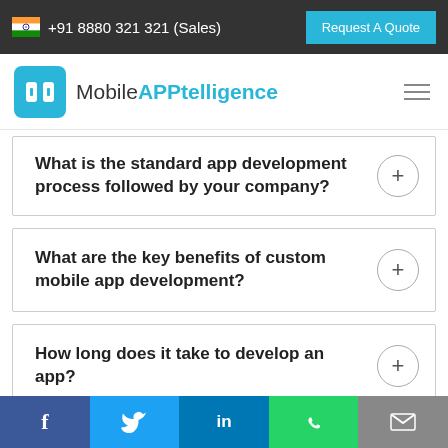+91 8880 321 321 (Sales) | Request A Quote
[Figure (logo): MobileAPPtelligence logo with teal icon and text]
What is the standard app development process followed by your company?
What are the key benefits of custom mobile app development?
How long does it take to develop an app?
Can you send the app developers onsite for
f | Twitter | in | WhatsApp | Email